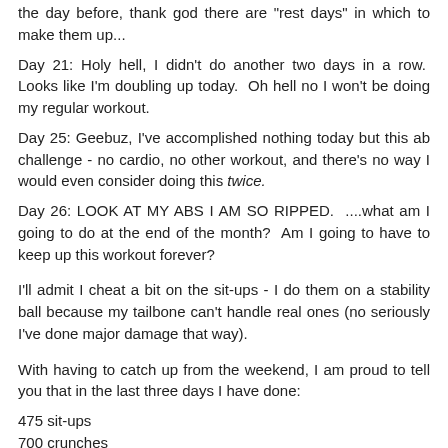the day before, thank god there are "rest days" in which to make them up...
Day 21: Holy hell, I didn't do another two days in a row.  Looks like I'm doubling up today.  Oh hell no I won't be doing my regular workout.
Day 25: Geebuz, I've accomplished nothing today but this ab challenge - no cardio, no other workout, and there's no way I would even consider doing this twice.
Day 26: LOOK AT MY ABS I AM SO RIPPED.  ....what am I going to do at the end of the month?  Am I going to have to keep up this workout forever?
I'll admit I cheat a bit on the sit-ups - I do them on a stability ball because my tailbone can't handle real ones (no seriously I've done major damage that way).
With having to catch up from the weekend, I am proud to tell you that in the last three days I have done:
475 sit-ups
700 crunches
175 leg raises
7 minutes (and some change) worth of plank